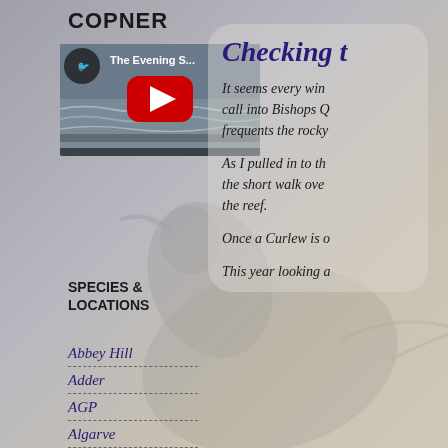COPNER
[Figure (screenshot): YouTube video thumbnail showing 'The Evening S...' with a bird silhouette icon, ocean/waves background, and red YouTube play button overlay]
SPECIES & LOCATIONS
Abbey Hill
Adder
AGP
Algarve
American Coot
Checking t
It seems every win call into Bishops Q frequents the rocky
As I pulled in to th the short walk ove the reef.
Once a Curlew is o
This year looking a